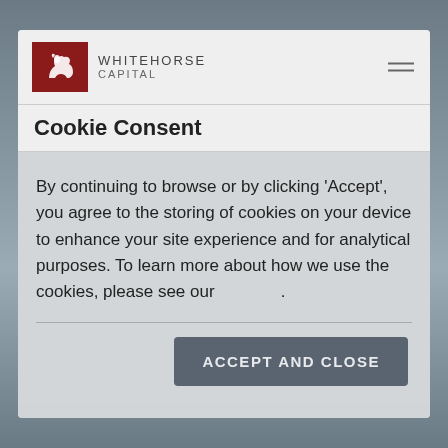[Figure (screenshot): Whitehorse Capital website screenshot showing a cookie consent modal dialog over a blurred background. The navbar shows the Whitehorse Capital logo (red square with white horse) and brand name, with a hamburger menu icon on the right.]
Cookie Consent
By continuing to browse or by clicking ‘Accept’, you agree to the storing of cookies on your device to enhance your site experience and for analytical purposes. To learn more about how we use the cookies, please see our .